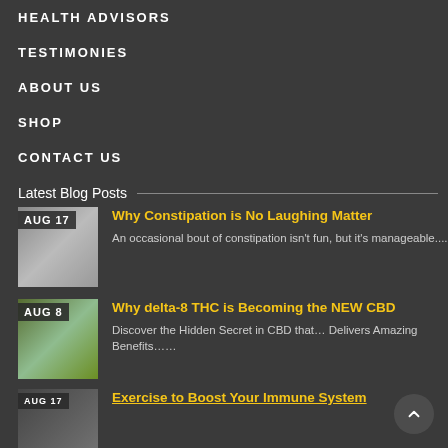HEALTH ADVISORS
TESTIMONIES
ABOUT US
SHOP
CONTACT US
Latest Blog Posts
AUG 17
Why Constipation is No Laughing Matter
An occasional bout of constipation isn't fun, but it's manageable....
AUG 8
Why delta-8 THC is Becoming the NEW CBD
Discover the Hidden Secret in CBD that… Delivers Amazing Benefits……
AUG 17
Exercise to Boost Your Immune System